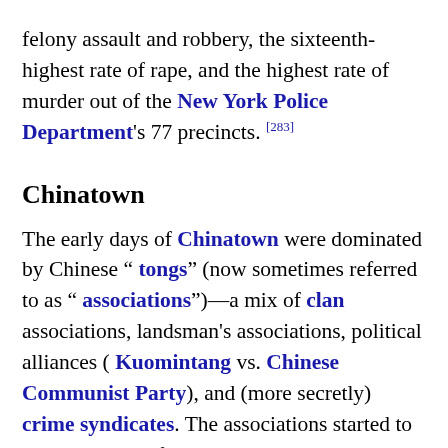felony assault and robbery, the sixteenth-highest rate of rape, and the highest rate of murder out of the New York Police Department's 77 precincts.[283]
Chinatown
The early days of Chinatown were dominated by Chinese " tongs" (now sometimes referred to as " associations")—a mix of clan associations, landsman's associations, political alliances ( Kuomintang vs. Chinese Communist Party), and (more secretly) crime syndicates. The associations started to give protection from harassment due to anti-Chinese sentiment. Each of these associations was aligned with a street gang. The associations were a source of assistance to new immigrants, doing things such as giving out loans and helping to start businesses.